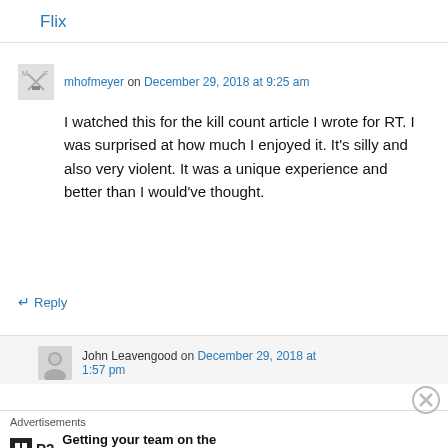Flix
mhofmeyer on December 29, 2018 at 9:25 am
I watched this for the kill count article I wrote for RT. I was surprised at how much I enjoyed it. It’s silly and also very violent. It was a unique experience and better than I would’ve thought.
↵ Reply
John Leavengood on December 29, 2018 at 1:57 pm
Advertisements
Getting your team on the same page is easy. And free.